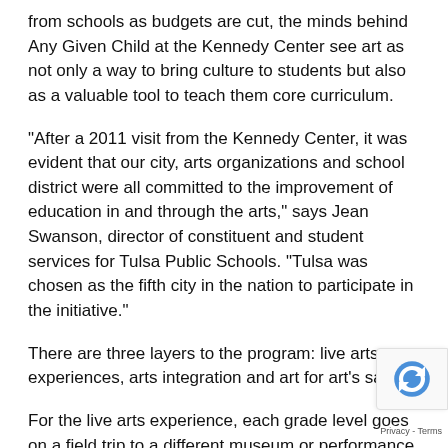from schools as budgets are cut, the minds behind Any Given Child at the Kennedy Center see art as not only a way to bring culture to students but also as a valuable tool to teach them core curriculum.
"After a 2011 visit from the Kennedy Center, it was evident that our city, arts organizations and school district were all committed to the improvement of education in and through the arts," says Jean Swanson, director of constituent and student services for Tulsa Public Schools. "Tulsa was chosen as the fifth city in the nation to participate in the initiative."
There are three layers to the program: live arts experiences, arts integration and art for art’s sake.
For the live arts experience, each grade level goes on a field trip to a different museum or performance. Fifth graders see a Tulsa Ballet performance. Amber Tait, executive director of Any Given Child-Tulsa, says she received an email from a fifth grade teacher who said her students were not excited about the trip but ended up loving the ballet, even asking when they could go again.
Where this program really shines is in its ability to integrate arts